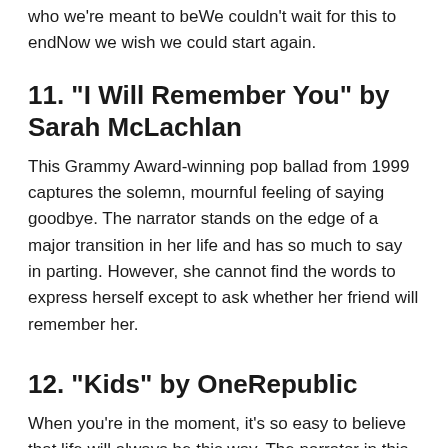who we're meant to beWe couldn't wait for this to endNow we wish we could start again.
11. "I Will Remember You" by Sarah McLachlan
This Grammy Award-winning pop ballad from 1999 captures the solemn, mournful feeling of saying goodbye. The narrator stands on the edge of a major transition in her life and has so much to say in parting. However, she cannot find the words to express herself except to ask whether her friend will remember her.
12. "Kids" by OneRepublic
When you're in the moment, it's so easy to believe that life will always be this way. The narrator in this 2016 pop song recalls the wild days of his youth when he and his friends had time on their sides and